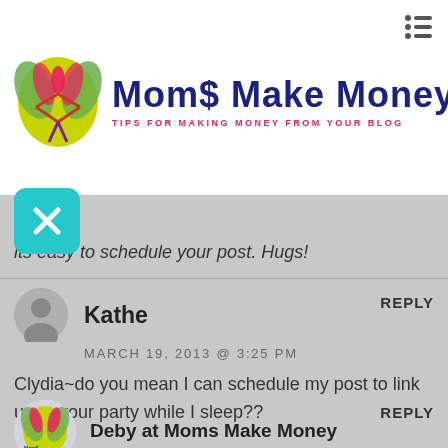[Figure (logo): Moms Make Money blog logo with yellow/green circle graphic and stylized figures, site title 'Mom$ Make Money' in dark blue, subtitle 'TIPS FOR MAKING MONEY FROM YOUR BLOG' in pink]
its easy to schedule your post. Hugs!
Kathe
MARCH 19, 2013 @ 3:25 PM
Clydia~do you mean I can schedule my post to link up to your party while I sleep??
Deby at Moms Make Money
MARCH 19, 2013 @ 3:55 PM